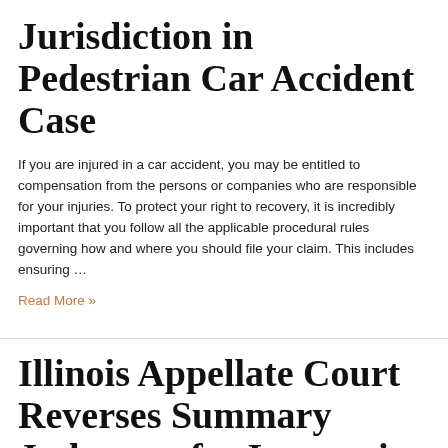Jurisdiction in Pedestrian Car Accident Case
If you are injured in a car accident, you may be entitled to compensation from the persons or companies who are responsible for your injuries. To protect your right to recovery, it is incredibly important that you follow all the applicable procedural rules governing how and where you should file your claim. This includes ensuring …
Read More »
Illinois Appellate Court Reverses Summary Judgment for Insurer in Dispute about Interpretation of Underinsured Motorist ...